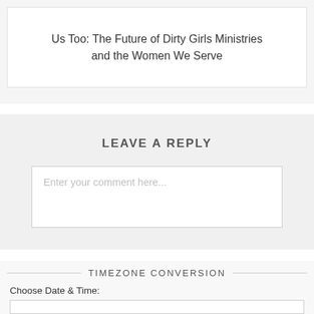Us Too: The Future of Dirty Girls Ministries and the Women We Serve
LEAVE A REPLY
Enter your comment here...
TIMEZONE CONVERSION
Choose Date & Time: